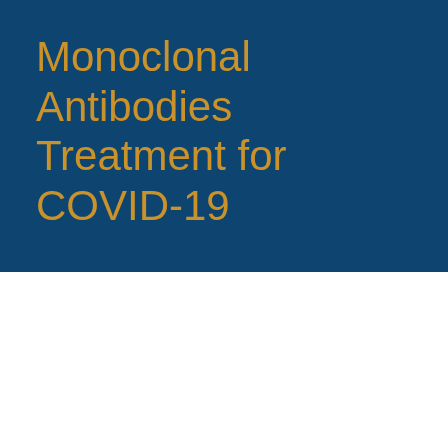Monoclonal Antibodies Treatment for COVID-19
Kevin Lutz, MD, FACP
Dec 1 2021
Monoclonal antibodies can shorten the